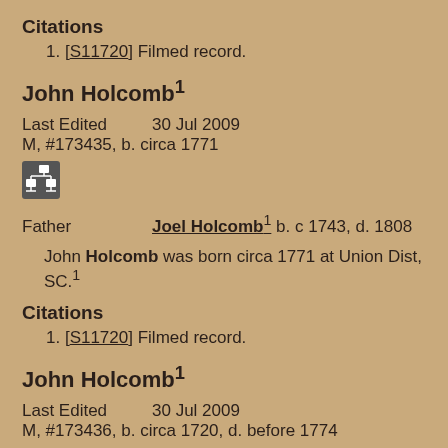Citations
1. [S11720] Filmed record.
John Holcomb¹
Last Edited    30 Jul 2009
M, #173435, b. circa 1771
[Figure (other): Small icon showing a family tree/pedigree chart symbol]
Father    Joel Holcomb¹ b. c 1743, d. 1808
John Holcomb was born circa 1771 at Union Dist, SC.¹
Citations
1. [S11720] Filmed record.
John Holcomb¹
Last Edited    30 Jul 2009
M, #173436, b. circa 1720, d. before 1774